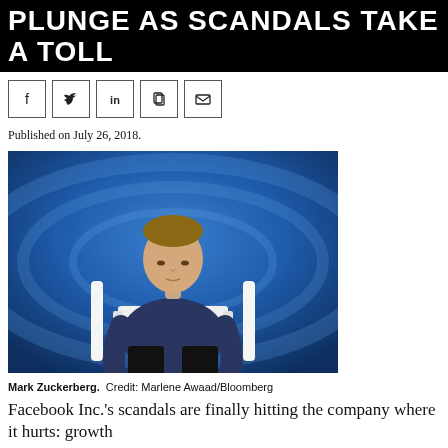PLUNGE AS SCANDALS TAKE A TOLL
[Figure (other): Social media share icons: Facebook, Twitter, LinkedIn, Copy, Email]
Published on July 26, 2018.
[Figure (photo): Mark Zuckerberg sitting in a white chair against a blue background, wearing a dark blue sweater, looking downward in a somber pose.]
Mark Zuckerberg.  Credit: Marlene Awaad/Bloomberg
Facebook Inc.'s scandals are finally hitting the company where it hurts: growth